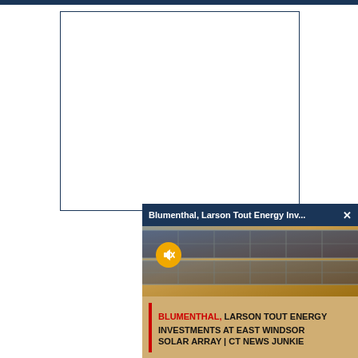[Figure (screenshot): Screenshot of a news webpage showing a video popup overlay. The top has a dark navy horizontal bar. Below is a white content area with a dark navy border. A video popup appears in the lower right with a navy header bar reading 'Blumenthal, Larson Tout Energy Inv... X', a solar panel image with a muted audio button (yellow circle with speaker-off icon), and a lower caption bar with a red vertical bar followed by bold text: 'BLUMENTHAL,' in red and 'LARSON TOUT ENERGY INVESTMENTS AT EAST WINDSOR SOLAR ARRAY | CT NEWS JUNKIE' in black.]